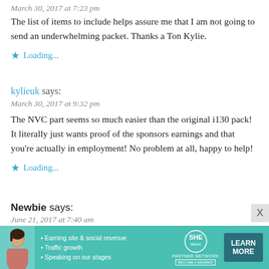March 30, 2017 at 7:23 pm
The list of items to include helps assure me that I am not going to send an underwhelming packet. Thanks a Ton Kylie.
Loading...
kylieuk says:
March 30, 2017 at 9:32 pm
The NVC part seems so much easier than the original i130 pack! It literally just wants proof of the sponsors earnings and that you're actually in employment! No problem at all, happy to help!
Loading...
Newbie says:
June 21, 2017 at 7:40 am
[Figure (infographic): Advertisement banner for SHE Partner Network with teal background, photo of a woman, bullet points about earning site & social revenue, traffic growth, speaking on stages, SHE logo, and a Learn More button.]